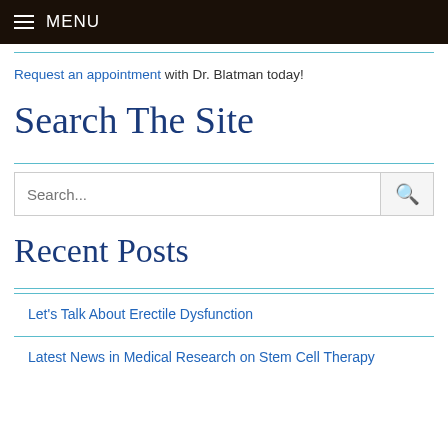MENU
Request an appointment with Dr. Blatman today!
Search The Site
Search...
Recent Posts
Let's Talk About Erectile Dysfunction
Latest News in Medical Research on Stem Cell Therapy